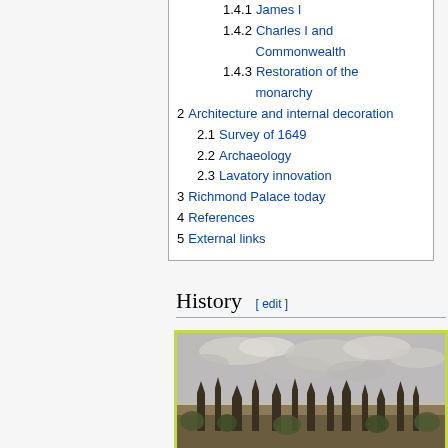1.4.1 James I
1.4.2 Charles I and Commonwealth
1.4.3 Restoration of the monarchy
2 Architecture and internal decoration
2.1 Survey of 1649
2.2 Archaeology
2.3 Lavatory innovation
3 Richmond Palace today
4 References
5 External links
History [ edit ]
[Figure (illustration): Historical engraving or illustration of Richmond Palace showing spires and towers against a cloudy sky]